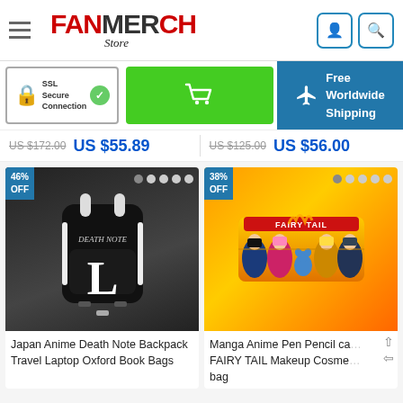FAN MERCH Store
[Figure (screenshot): SSL Secure Connection badge with padlock icon]
[Figure (screenshot): Green shopping cart button]
[Figure (screenshot): Free Worldwide Shipping banner with airplane icon]
US $172.00  US $55.89
US $125.00  US $56.00
[Figure (photo): Black Death Note anime backpack with white L logo]
46% OFF
Japan Anime Death Note Backpack Travel Laptop Oxford Book Bags
[Figure (photo): Fairy Tail anime pencil case with manga characters]
38% OFF
Manga Anime Pen Pencil ca FAIRY TAIL Makeup Cosme bag